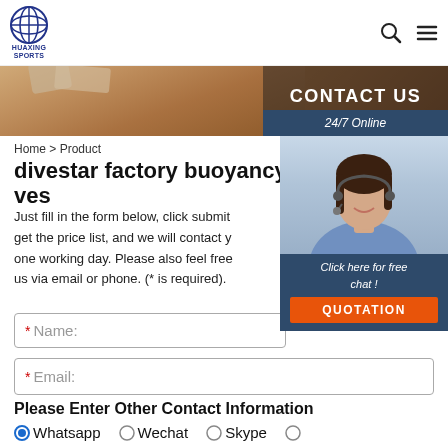[Figure (logo): Huaxing Sports logo with globe icon and company name]
[Figure (photo): Hero banner with hands on table and Contact Us overlay panel, 24/7 Online badge]
Home > Product
divestar factory buoyancy ves
Just fill in the form below, click submit get the price list, and we will contact y one working day. Please also feel free us via email or phone. (* is required).
* Name:
* Email:
Please Enter Other Contact Information
Whatsapp
Wechat
Skype
Viber